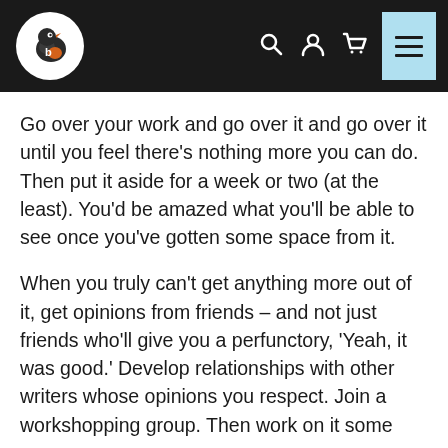[Figure (logo): Website header with a bird logo (orange and black bird in a white circle) on a dark background, with search, user, cart, and hamburger menu icons on the right. The hamburger menu icon is highlighted in light blue.]
Go over your work and go over it and go over it until you feel there’s nothing more you can do. Then put it aside for a week or two (at the least). You’d be amazed what you’ll be able to see once you’ve gotten some space from it.
When you truly can’t get anything more out of it, get opinions from friends – and not just friends who’ll give you a perfunctory, ‘Yeah, it was good.’ Develop relationships with other writers whose opinions you respect. Join a workshopping group. Then work on it some more.